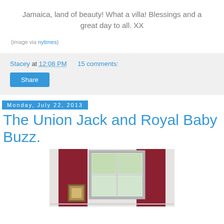Jamaica, land of beauty! What a villa! Blessings and a great day to all. XX
{image via nytimes}
Stacey at 12:08 PM   15 comments:
Share
Monday, July 22, 2013
The Union Jack and Royal Baby Buzz.
[Figure (photo): Interior room with red/burgundy curtains, a window with white frame showing greenery outside, and a small ornate picture frame on the wall to the left.]